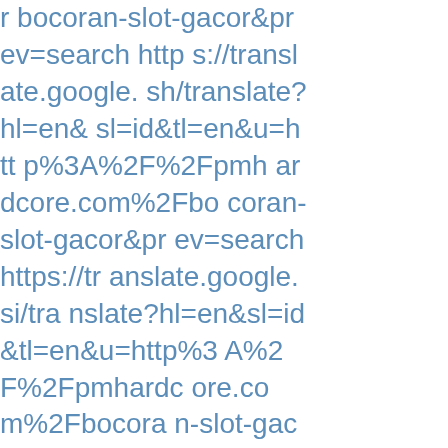r bocoran-slot-gacor&prev=search https://translate.google.sh/translate?hl=en&sl=id&tl=en&u=http%3A%2F%2Fpmhardcore.com%2Fbocoran-slot-gacor&prev=search https://translate.google.si/translate?hl=en&sl=id&tl=en&u=http%3A%2F%2Fpmhardcore.com%2Fbocoran-slot-gacor&prev=search https://translate.google.sk/translate?hl=en&sl=id&tl=en&u=http%3A%2F%2Fpmhardcore.com%2Fbocoran-slot-gacor&prev=search https://translate.google.com.sl/translate?hl=en&sl=id&tl=en&u=http%3A%2F%2Fpmhardcore.com%2Fbocoran-slot-gacor&prev=search https://translate.g